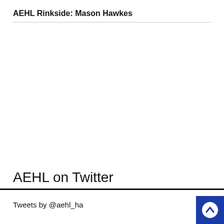AEHL Rinkside: Mason Hawkes
AEHL on Twitter
Tweets by @aehl_ha